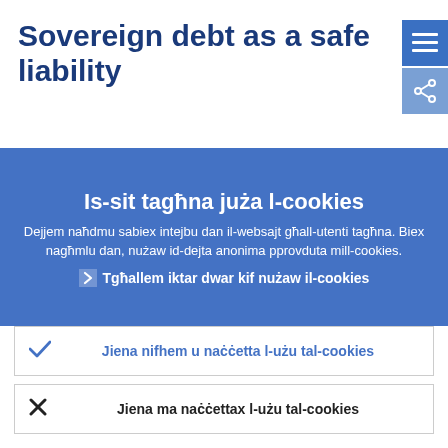Sovereign debt as a safe liability
Is-sit tagħna juża l-cookies
Dejjem naħdmu sabiex intejbu dan il-websajt għall-utenti tagħna. Biex nagħmlu dan, nużaw id-dejta anonima pprovduta mill-cookies.
Tgħallem iktar dwar kif nużaw il-cookies
Jiena nifhem u naċċetta l-użu tal-cookies
Jiena ma naċċettax l-użu tal-cookies